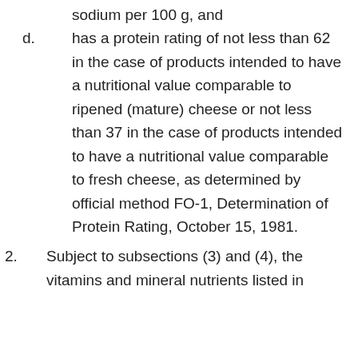sodium per 100 g, and
d. has a protein rating of not less than 62 in the case of products intended to have a nutritional value comparable to ripened (mature) cheese or not less than 37 in the case of products intended to have a nutritional value comparable to fresh cheese, as determined by official method FO-1, Determination of Protein Rating, October 15, 1981.
2. Subject to subsections (3) and (4), the vitamins and mineral nutrients listed in